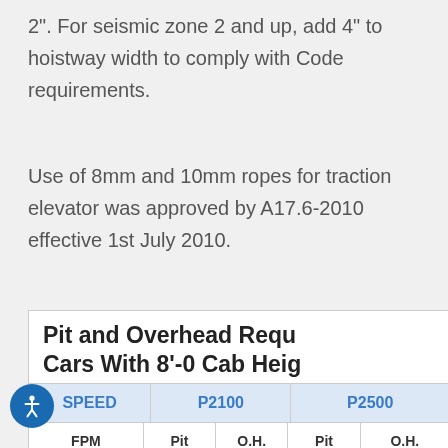2". For seismic zone 2 and up, add 4" to hoistway width to comply with Code requirements.
Use of 8mm and 10mm ropes for traction elevator was approved by A17.6-2010 effective 1st July 2010.
| SPEED | P2100 | P2500 |
| --- | --- | --- |
| FPM | Pit | O.H. | Pit | O.H. |
|  |